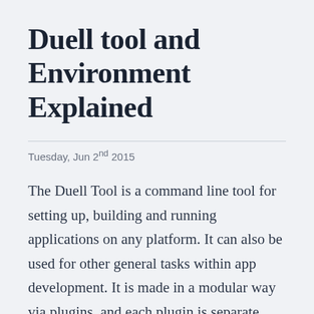Duell tool and Environment Explained
Tuesday, Jun 2nd 2015
The Duell Tool is a command line tool for setting up, building and running applications on any platform. It can also be used for other general tasks within app development. It is made in a modular way via plugins, and each plugin is separate from the tool itself. The tool merges the needed plugin on execution.